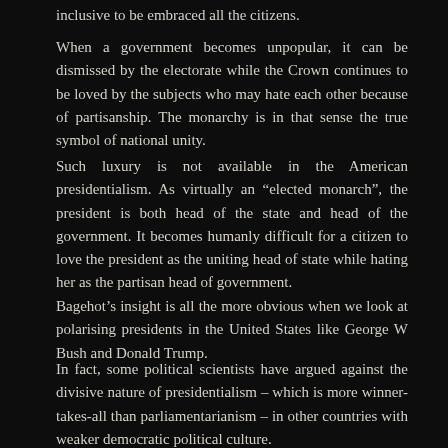inclusive to be embraced all the citizens.
When a government becomes unpopular, it can be dismissed by the electorate while the Crown continues to be loved by the subjects who may hate each other because of partisanship. The monarchy is in that sense the true symbol of national unity.
Such luxury is not available in the American presidentialism. As virtually an “elected monarch”, the president is both head of the state and head of the government. It becomes humanly difficult for a citizen to love the president as the uniting head of state while hating her as the partisan head of government.
Bagehot’s insight is all the more obvious when we look at polarising presidents in the United States like George W Bush and Donald Trump.
In fact, some political scientists have argued against the divisive nature of presidentialism – which is more winner-takes-all than parliamentarianism – in other countries with weaker democratic political culture.
A ceremonial role